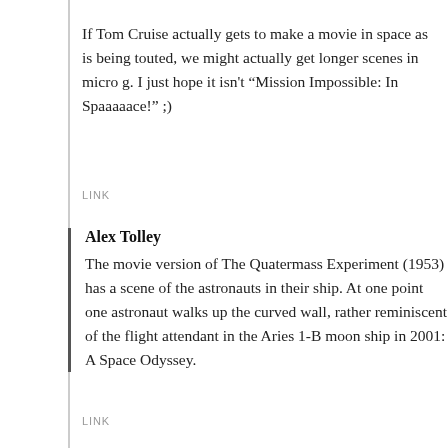If Tom Cruise actually gets to make a movie in space as is being touted, we might actually get longer scenes in micro g. I just hope it isn’t “Mission Impossible: In Spaaaaace!” ;)
LINK
Alex Tolley
The movie version of The Quatermass Experiment (1953) has a scene of the astronauts in their ship. At one point one astronaut walks up the curved wall, rather reminiscent of the flight attendant in the Aries 1-B moon ship in 2001: A Space Odyssey.
LINK